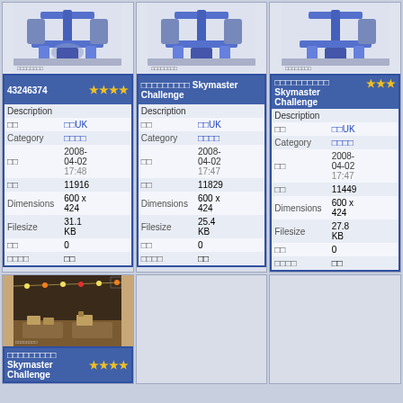[Figure (photo): Robot arm image for item 43246374]
| ★★★★ | 43246374 |
| Description |  |
| □□ | □□UK |
| Category | □□□□ |
| □□ | 2008-04-02 17:48 |
| □□ | 11916 |
| Dimensions | 600 x 424 |
| Filesize | 31.1 KB |
| □□ | 0 |
| □□□□ | □□ |
[Figure (photo): Robot arm image for Skymaster Challenge item]
| □□□□□□□□□ Skymaster Challenge |  |
| Description |  |
| □□ | □□UK |
| Category | □□□□ |
| □□ | 2008-04-02 17:47 |
| □□ | 11829 |
| Dimensions | 600 x 424 |
| Filesize | 25.4 KB |
| □□ | 0 |
| □□□□ | □□ |
[Figure (photo): Robot arm image for third Skymaster Challenge item]
| □□□□□□□□□□ Skymaster Challenge | ★★★ |
| Description |  |
| □□ | □□UK |
| Category | □□□□ |
| □□ | 2008-04-02 17:47 |
| □□ | 11449 |
| Dimensions | 600 x 424 |
| Filesize | 27.8 KB |
| □□ | 0 |
| □□□□ | □□ |
[Figure (photo): Indoor party/event photo for fourth Skymaster Challenge item]
| □□□□□□□□□ Skymaster Challenge | ★★★★ |
| (partial) |  |